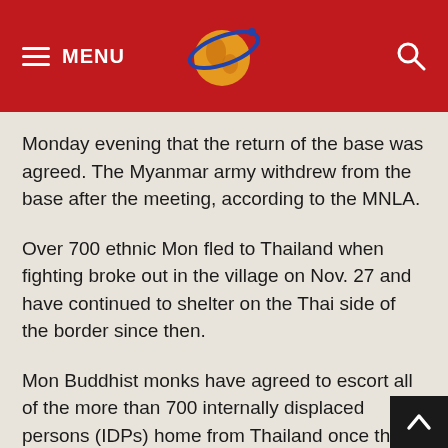MENU [logo] [search]
Monday evening that the return of the base was agreed. The Myanmar army withdrew from the base after the meeting, according to the MNLA.
Over 700 ethnic Mon fled to Thailand when fighting broke out in the village on Nov. 27 and have continued to shelter on the Thai side of the border since then.
Mon Buddhist monks have agreed to escort all of the more than 700 internally displaced persons (IDPs) home from Thailand once the Myanmar army has left the MNLA base and outpost, according to Mon sources.